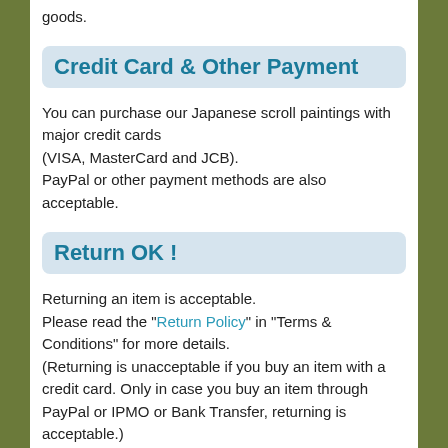goods.
Credit Card & Other Payment
You can purchase our Japanese scroll paintings with major credit cards
(VISA, MasterCard and JCB).
PayPal or other payment methods are also acceptable.
Return OK !
Returning an item is acceptable.
Please read the "Return Policy" in "Terms & Conditions" for more details.
(Returning is unacceptable if you buy an item with a credit card. Only in case you buy an item through PayPal or IPMO or Bank Transfer, returning is acceptable.)
High-Value & Singular Paintings
We display choicer and selected Japanese paintings only.
No valueless products here such as Chinese cheap fakes or